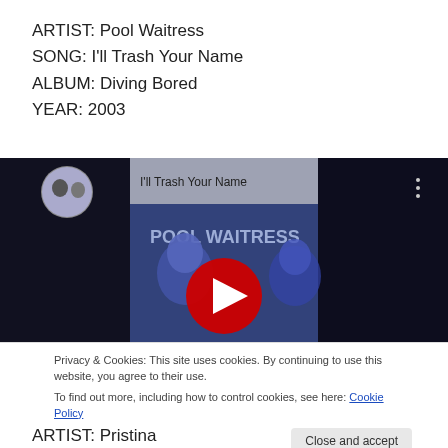ARTIST: Pool Waitress
SONG: I'll Trash Your Name
ALBUM: Diving Bored
YEAR: 2003
[Figure (screenshot): YouTube video thumbnail for 'I'll Trash Your Name' by Pool Waitress, showing two people on a blue background with the song title text and a red play button overlay.]
Privacy & Cookies: This site uses cookies. By continuing to use this website, you agree to their use.
To find out more, including how to control cookies, see here: Cookie Policy
Close and accept
ARTIST: Pristina